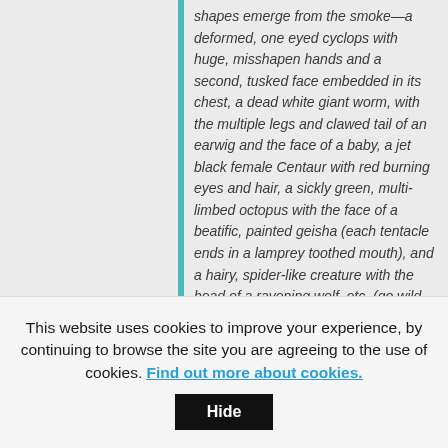shapes emerge from the smoke—a deformed, one eyed cyclops with huge, misshapen hands and a second, tusked face embedded in its chest, a dead white giant worm, with the multiple legs and clawed tail of an earwig and the face of a baby, a jet black female Centaur with red burning eyes and hair, a sickly green, multi-limbed octopus with the face of a beatific, painted geisha (each tentacle ends in a lamprey toothed mouth), and a hairy, spider-like creature with the head of a ravening wolf, etc. (go wild, use your imagination)
We move past the monsters to reveal Lilith on her titanic obsidian throne. She is supremely beautiful and terrifying. A giant, red skinned...
This website uses cookies to improve your experience, by continuing to browse the site you are agreeing to the use of cookies. Find out more about cookies.